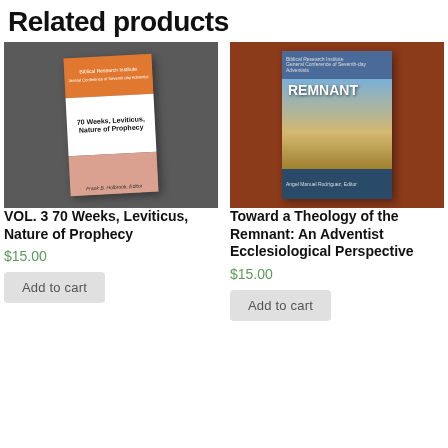Related products
[Figure (photo): Book cover of VOL. 3 70 Weeks, Leviticus, Nature of Prophecy on grey background]
VOL. 3 70 Weeks, Leviticus, Nature of Prophecy
$15.00
Add to cart
[Figure (photo): Book cover of Toward a Theology of the Remnant: An Adventist Ecclesiological Perspective on brown/rust background]
Toward a Theology of the Remnant: An Adventist Ecclesiological Perspective
$15.00
Add to cart